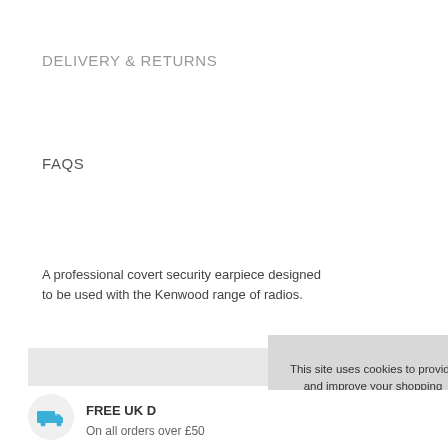DELIVERY & RETURNS
FAQS
A professional covert security earpiece designed to be used with the Kenwood range of radios.
This site uses cookies to provide and improve your shopping experience. If you want to benefit from this improved service, please opt-in. Cookies Page.

I opt-in to a better browsing experience

Accept Cookies
FREE UK D
On all orders over £50